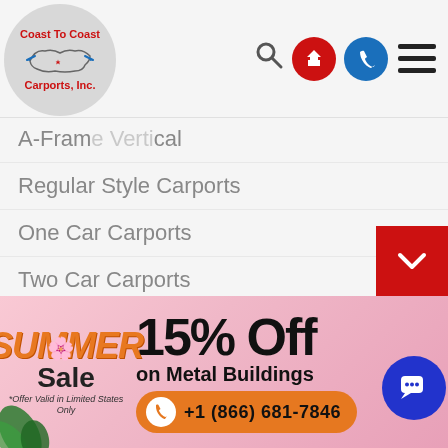[Figure (logo): Coast To Coast Carports Inc. logo — circular badge with US map outline and red text]
A-Frame Vertical
Regular Style Carports
One Car Carports
Two Car Carports
Three Car Carports
Deluxe Enclosed Carports
RV Carports
Boat Garages and Sheds
Utility Carports
Camper Carports
[Figure (infographic): Summer Sale banner: 15% Off on Metal Buildings, phone number +1 (866) 681-7846, *Offer Valid in Limited States Only]